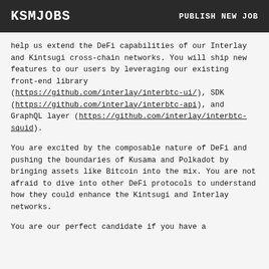KSMJOBS   PUBLISH NEW JOB
help us extend the DeFi capabilities of our Interlay and Kintsugi cross-chain networks. You will ship new features to our users by leveraging our existing front-end library (https://github.com/interlay/interbtc-ui/), SDK (https://github.com/interlay/interbtc-api), and GraphQL layer (https://github.com/interlay/interbtc-squid).
You are excited by the composable nature of DeFi and pushing the boundaries of Kusama and Polkadot by bringing assets like Bitcoin into the mix. You are not afraid to dive into other DeFi protocols to understand how they could enhance the Kintsugi and Interlay networks.
You are our perfect candidate if you have a